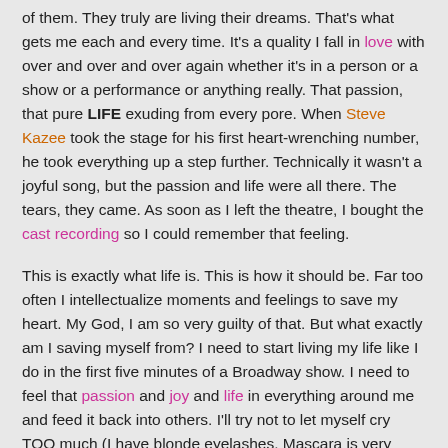of them.  They truly are living their dreams.  That's what gets me each and every time.  It's a quality I fall in love with over and over and over again whether it's in a person or a show or a performance or anything really.  That passion, that pure LIFE exuding from every pore.  When Steve Kazee took the stage for his first heart-wrenching number, he took everything up a step further.    Technically it wasn't a joyful song, but the passion and life were all there.  The tears, they came.  As soon as I left the theatre, I bought the cast recording so I could remember that feeling.
This is exactly what life is.  This is how it should be.  Far too often I intellectualize moments and feelings to save my heart.  My God, I am so very guilty of that.  But what exactly am I saving myself from?  I need to start living my life like I do in the first five minutes of a Broadway show.  I need to feel that passion and joy and life in everything around me and feed it back into others.  I'll try not to let myself cry TOO much (I have blonde eyelashes.  Mascara is very important), but I will not keep that ginormous smile off my face.